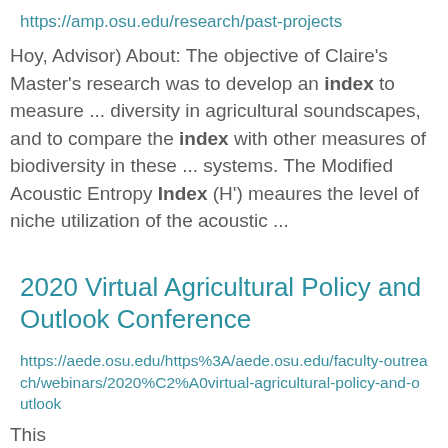https://amp.osu.edu/research/past-projects
Hoy, Advisor) About: The objective of Claire's Master's research was to develop an index to measure ... diversity in agricultural soundscapes, and to compare the index with other measures of biodiversity in these ... systems. The Modified Acoustic Entropy Index (H') meaures the level of niche utilization of the acoustic ...
2020 Virtual Agricultural Policy and Outlook Conference
https://aede.osu.edu/https%3A/aede.osu.edu/faculty-outreach/webinars/2020%C2%A0virtual-agricultural-policy-and-outlook
This